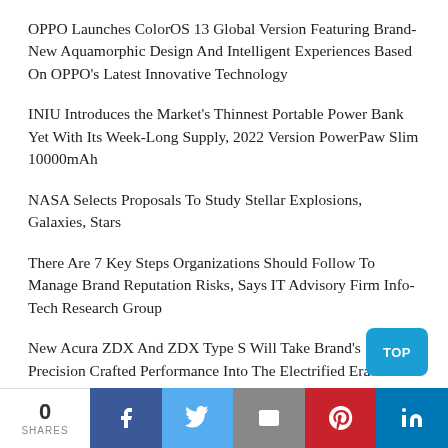OPPO Launches ColorOS 13 Global Version Featuring Brand-New Aquamorphic Design And Intelligent Experiences Based On OPPO’s Latest Innovative Technology
INIU Introduces the Market’s Thinnest Portable Power Bank Yet With Its Week-Long Supply, 2022 Version PowerPaw Slim 10000mAh
NASA Selects Proposals To Study Stellar Explosions, Galaxies, Stars
There Are 7 Key Steps Organizations Should Follow To Manage Brand Reputation Risks, Says IT Advisory Firm Info-Tech Research Group
New Acura ZDX And ZDX Type S Will Take Brand’s Precision Crafted Performance Into The Electrified Era